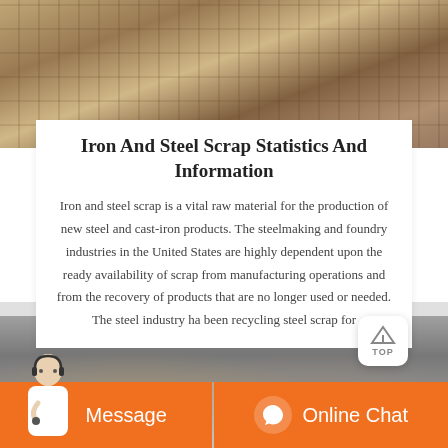[Figure (photo): Industrial scaffolding and steel construction framework, viewed from below at an angle, brownish-orange tones.]
Iron And Steel Scrap Statistics And Information
Iron and steel scrap is a vital raw material for the production of new steel and cast-iron products. The steelmaking and foundry industries in the United States are highly dependent upon the ready availability of scrap from manufacturing operations and from the recovery of products that are no longer used or needed. The steel industry ha been recycling steel scrap for
[Figure (photo): Industrial machinery with large metal wheels/rollers in a mining or steel processing facility, gray tones.]
[Figure (photo): Customer service representative with headset next to orange Message and Online Chat buttons.]